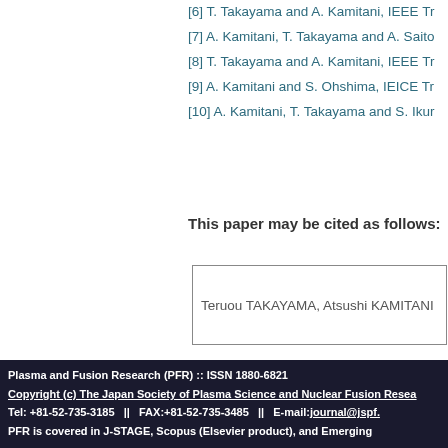[6] T. Takayama and A. Kamitani, IEEE Tr
[7] A. Kamitani, T. Takayama and A. Saito
[8] T. Takayama and A. Kamitani, IEEE Tr
[9] A. Kamitani and S. Ohshima, IEICE Tr
[10] A. Kamitani, T. Takayama and S. Ikur
This paper may be cited as follows:
Teruou TAKAYAMA, Atsushi KAMITANI
Plasma and Fusion Research (PFR) :: ISSN 1880-6821 | Copyright (c) The Japan Society of Plasma Science and Nuclear Fusion Resea | Tel: +81-52-735-3185  ||  FAX:+81-52-735-3485  ||  E-mail:journal@jspf. | PFR is covered in J-STAGE, Scopus (Elsevier product), and Emerging